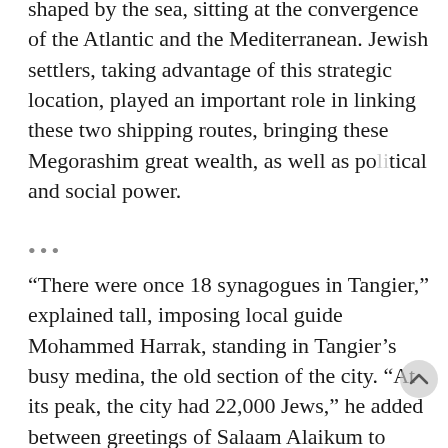shaped by the sea, sitting at the convergence of the Atlantic and the Mediterranean. Jewish settlers, taking advantage of this strategic location, played an important role in linking these two shipping routes, bringing these Megorashim great wealth, as well as political and social power.
•••
“There were once 18 synagogues in Tangier,” explained tall, imposing local guide Mohammed Harrak, standing in Tangier’s busy medina, the old section of the city. “At its peak, the city had 22,000 Jews,” he added between greetings of Salaam Alaikum to passers-by. His Berber mother, he recalled, turned off lights for their Jewish neighbors on Shabbat. It seemed every local had some fond remembrance of a Jewish friend or family. Today most of them are gone; only 50 Jews remain. The